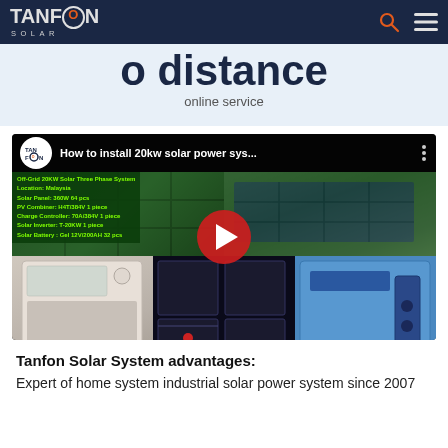TANFON SOLAR — navigation bar with search and menu icons
o distance
online service
[Figure (screenshot): YouTube video thumbnail: 'How to install 20kw solar power sys...' showing Tanfon Solar channel icon, video title, system specs overlay (Off-Grid 20KW Solar Three Phase System, Location: Malaysia, Solar Panel: 360W 64 pcs, PV Combiner: H4T/384V 1 piece, Charge Controller: 70A/384V 1 piece, Solar Inverter: T-20KW 1 piece, Solar Battery: Gel 12V/200AH 32 pcs), and a red YouTube play button over composite photos of solar panels, batteries, and inverter equipment.]
Tanfon Solar System advantages:
Expert of  home system industrial solar power system since 2007